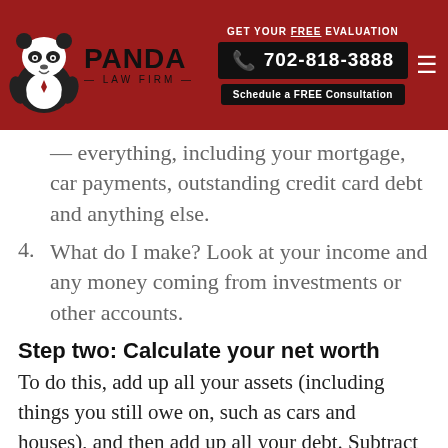GET YOUR FREE EVALUATION | 702-818-3888 | Schedule a FREE Consultation
— everything, including your mortgage, car payments, outstanding credit card debt and anything else.
4. What do I make? Look at your income and any money coming from investments or other accounts.
Step two: Calculate your net worth
To do this, add up all your assets (including things you still owe on, such as cars and houses), and then add up all your debt. Subtract the total amount of your debt from